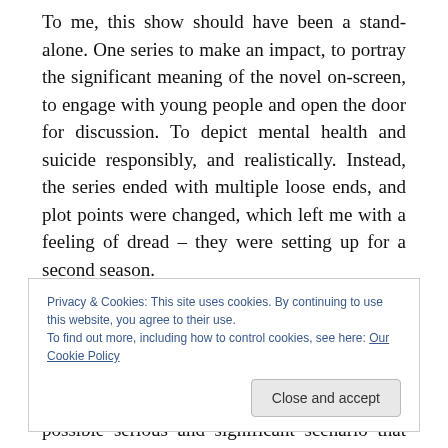To me, this show should have been a stand-alone. One series to make an impact, to portray the significant meaning of the novel on-screen, to engage with young people and open the door for discussion. To depict mental health and suicide responsibly, and realistically. Instead, the series ended with multiple loose ends, and plot points were changed, which left me with a feeling of dread – they were setting up for a second season.
Ta da! A second season has been announced, and I couldn't be more disappointed. At the end of season
Privacy & Cookies: This site uses cookies. By continuing to use this website, you agree to their use.
To find out more, including how to control cookies, see here: Our Cookie Policy
possible serious and significant scenario that has